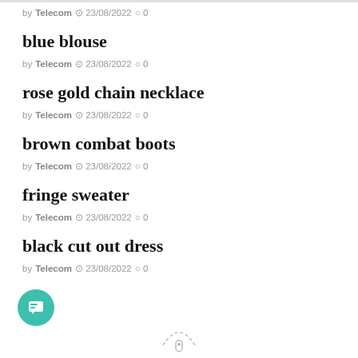by Telecom ⊙ 23/08/2022 ○ 0
blue blouse
by Telecom ⊙ 23/08/2022 ○ 0
rose gold chain necklace
by Telecom ⊙ 23/08/2022 ○ 0
brown combat boots
by Telecom ⊙ 23/08/2022 ○ 0
fringe sweater
by Telecom ⊙ 23/08/2022 ○ 0
black cut out dress
by Telecom ⊙ 23/08/2022 ○ 0
[Figure (illustration): Teal circular chat/message button with chat icon]
[Figure (illustration): Dashed scroll indicator showing a rounded rectangle with an oval inside, partially visible at page bottom]